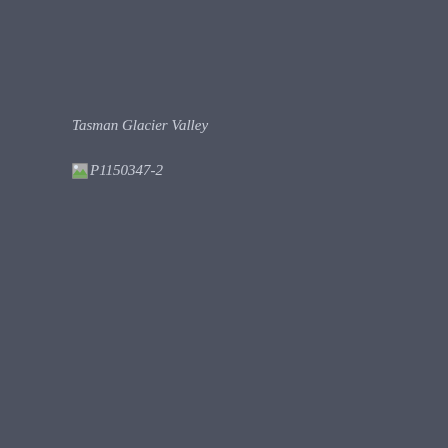Tasman Glacier Valley
[Figure (photo): Broken/missing image placeholder labeled P1150347-2, representing a photo of Tasman Glacier Valley]